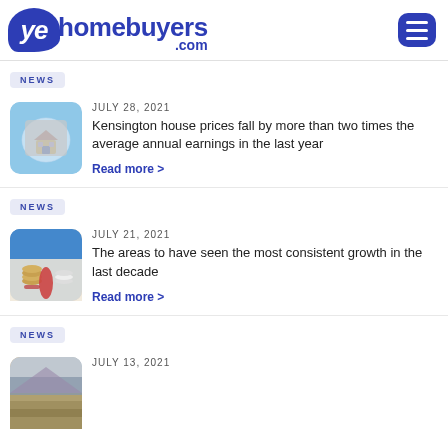[Figure (logo): YesHomeBuyers.com logo with blue speech bubble and hamburger menu icon]
NEWS
[Figure (photo): Small house inside a glass bubble on blue background]
JULY 28, 2021
Kensington house prices fall by more than two times the average annual earnings in the last year
Read more >
NEWS
[Figure (photo): Miniature house and coins on table]
JULY 21, 2021
The areas to have seen the most consistent growth in the last decade
Read more >
NEWS
[Figure (photo): Rooftop aerial view]
JULY 13, 2021